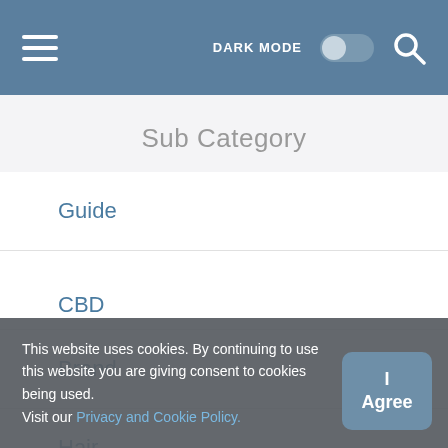DARK MODE [toggle] [search]
Sub Category
Guide
Service
Brand
Hair
CBD
This website uses cookies. By continuing to use this website you are giving consent to cookies being used. Visit our Privacy and Cookie Policy.